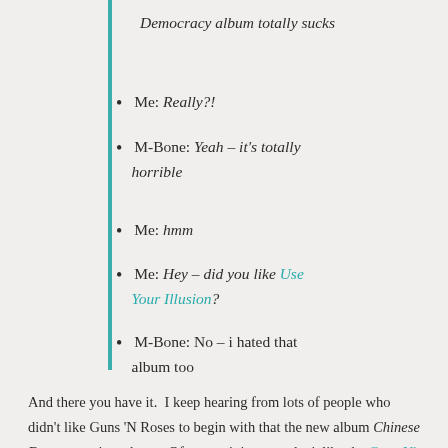Democracy album totally sucks
Me: Really?!
M-Bone: Yeah – it's totally horrible
Me: hmm
Me: Hey – did you like Use Your Illusion?
M-Bone: No – i hated that album too
And there you have it.  I keep hearing from lots of people who didn't like Guns 'N Roses to begin with that the new album Chinese Democracy is garbage.  Of course it is – you don't like the Guns N' Roses' music.   Me, on the other hand, happen to really like GnR and think that the new ablum is really interesting.  Of course the music isn't as good as Appetite for